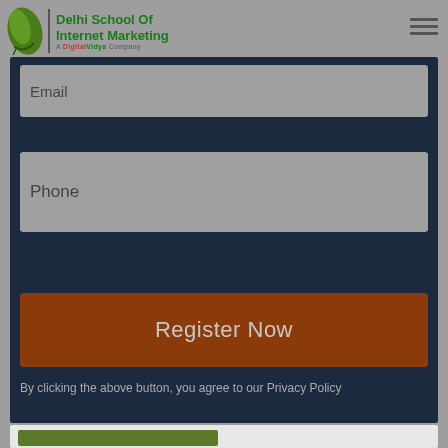[Figure (logo): Delhi School Of Internet Marketing logo with green leaf icon and text 'A Digital Vidya Company']
Email
Phone
Register Now
By clicking the above button, you agree to our Privacy Policy